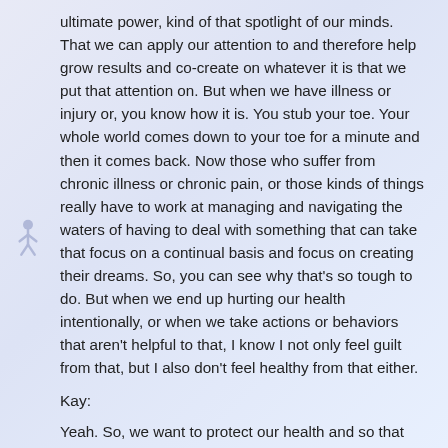ultimate power, kind of that spotlight of our minds. That we can apply our attention to and therefore help grow results and co-create on whatever it is that we put that attention on. But when we have illness or injury or, you know how it is. You stub your toe. Your whole world comes down to your toe for a minute and then it comes back. Now those who suffer from chronic illness or chronic pain, or those kinds of things really have to work at managing and navigating the waters of having to deal with something that can take that focus on a continual basis and focus on creating their dreams. So, you can see why that's so tough to do. But when we end up hurting our health intentionally, or when we take actions or behaviors that aren't helpful to that, I know I not only feel guilt from that, but I also don't feel healthy from that either.
Kay:
Yeah. So, we want to protect our health and so that we can keep our hope because like the second part of this quote says, "He who has hope has everything." We've seen, time and time again, in human history where humans, people get stripped down to absolutely nothing. They're in prison or an encampment or whatever but the thing that they find that they can hold on to, the thing that keeps them going